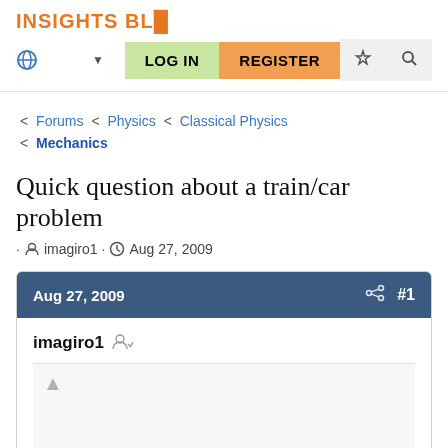INSIGHTS BL
LOG IN   REGISTER
Forums < Physics < Classical Physics < Mechanics
Quick question about a train/car problem
· imagiro1 · Aug 27, 2009
Aug 27, 2009   #1
imagiro1